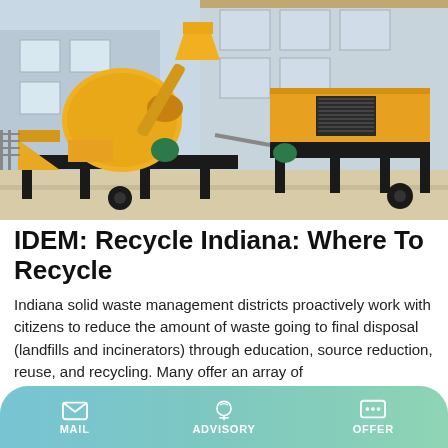[Figure (photo): Yellow concrete mixer and pump machine on black metal frame, parked on concrete pavement in front of a light blue building. Industrial construction equipment.]
IDEM: Recycle Indiana: Where To Recycle
Indiana solid waste management districts proactively work with citizens to reduce the amount of waste going to final disposal (landfills and incinerators) through education, source reduction, reuse, and recycling. Many offer an array of
MAIL  ADVISORY  OFFER